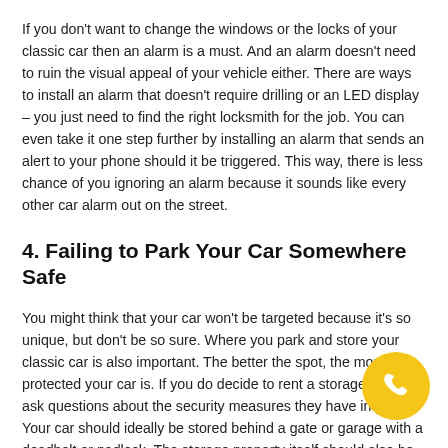If you don't want to change the windows or the locks of your classic car then an alarm is a must. And an alarm doesn't need to ruin the visual appeal of your vehicle either. There are ways to install an alarm that doesn't require drilling or an LED display – you just need to find the right locksmith for the job. You can even take it one step further by installing an alarm that sends an alert to your phone should it be triggered. This way, there is less chance of you ignoring an alarm because it sounds like every other car alarm out on the street.
4. Failing to Park Your Car Somewhere Safe
You might think that your car won't be targeted because it's so unique, but don't be so sure. Where you park and store your classic car is also important. The better the spot, the more protected your car is. If you do decide to rent a storage facility, ask questions about the security measures they have in place. Your car should ideally be stored behind a gate or garage with a deadbolt or padlock. The storage property itself should also be well protected with cameras and quality fencing.